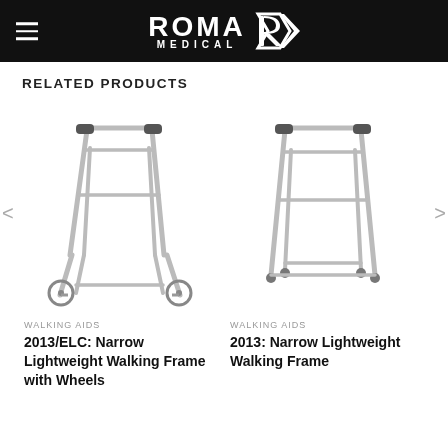ROMA MEDICAL
RELATED PRODUCTS
[Figure (illustration): Walking frame with two front wheels and adjustable legs — model 2013/ELC Narrow Lightweight Walking Frame with Wheels]
WALKING AIDS
2013/ELC: Narrow Lightweight Walking Frame with Wheels
[Figure (illustration): Walking frame without wheels with adjustable legs — model 2013 Narrow Lightweight Walking Frame]
WALKING AIDS
2013: Narrow Lightweight Walking Frame